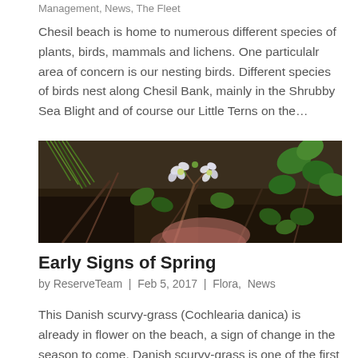Management, News, The Fleet
Chesil beach is home to numerous different species of plants, birds, mammals and lichens. One particulalr area of concern is our nesting birds. Different species of birds nest along Chesil Bank, mainly in the Shrubby Sea Blight and of course our Little Terns on the…
[Figure (photo): Close-up photo of Danish scurvy-grass (Cochlearia danica) with small white flowers, growing low among green leaves and twigs on a beach]
Early Signs of Spring
by ReserveTeam | Feb 5, 2017 | Flora, News
This Danish scurvy-grass (Cochlearia danica) is already in flower on the beach, a sign of change in the season to come. Danish scurvy-grass is one of the first plants